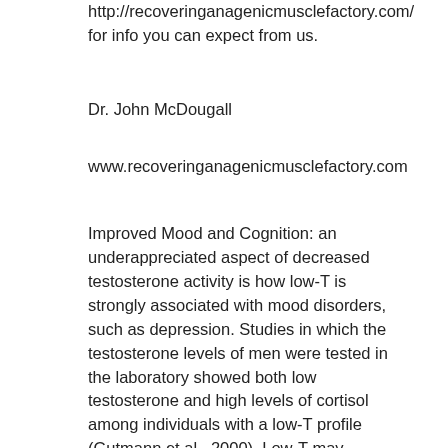http://recoveringanagenicmusclefactory.com/ for info you can expect from us.
Dr. John McDougall
www.recoveringanagenicmusclefactory.com
Improved Mood and Cognition: an underappreciated aspect of decreased testosterone activity is how low-T is strongly associated with mood disorders, such as depression. Studies in which the testosterone levels of men were tested in the laboratory showed both low testosterone and high levels of cortisol among individuals with a low-T profile (Gutmann et al., 2000). Low-T may contribute to symptoms of a number of psychiatric disorders, such as depression and anhedonia which are associated with decreased mood.